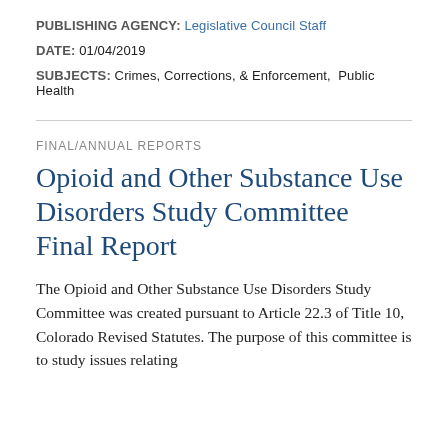PUBLISHING AGENCY: Legislative Council Staff
DATE: 01/04/2019
SUBJECTS: Crimes, Corrections, & Enforcement,  Public Health
FINAL/ANNUAL REPORTS
Opioid and Other Substance Use Disorders Study Committee Final Report
The Opioid and Other Substance Use Disorders Study Committee was created pursuant to Article 22.3 of Title 10, Colorado Revised Statutes. The purpose of this committee is to study issues relating